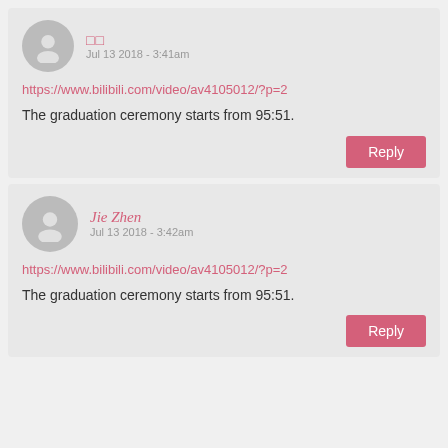[Figure (illustration): User avatar icon (gray circle with person silhouette) for first comment]
□□
Jul 13 2018 - 3:41am
https://www.bilibili.com/video/av4105012/?p=2
The graduation ceremony starts from 95:51.
Reply
[Figure (illustration): User avatar icon (gray circle with person silhouette) for second comment]
Jie Zhen
Jul 13 2018 - 3:42am
https://www.bilibili.com/video/av4105012/?p=2
The graduation ceremony starts from 95:51.
Reply